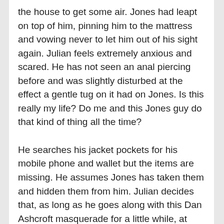the house to get some air. Jones had leapt on top of him, pinning him to the mattress and vowing never to let him out of his sight again. Julian feels extremely anxious and scared. He has not seen an anal piercing before and was slightly disturbed at the effect a gentle tug on it had on Jones. Is this really my life? Do me and this Jones guy do that kind of thing all the time?
He searches his jacket pockets for his mobile phone and wallet but the items are missing. He assumes Jones has taken them and hidden them from him. Julian decides that, as long as he goes along with this Dan Ashcroft masquerade for a little while, at some point he will get his belongings back and will recall exactly who he is